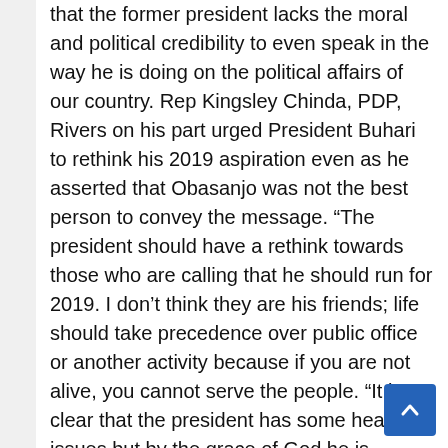that the former president lacks the moral and political credibility to even speak in the way he is doing on the political affairs of our country. Rep Kingsley Chinda, PDP, Rivers on his part urged President Buhari to rethink his 2019 aspiration even as he asserted that Obasanjo was not the best person to convey the message. “The president should have a rethink towards those who are calling that he should run for 2019. I don’t think they are his friends; life should take precedence over public office or another activity because if you are not alive, you cannot serve the people. “It is clear that the president has some health issues but by the grace of God he is getting better but I think that he deserves some rest. Even at his age one should think of retirement.